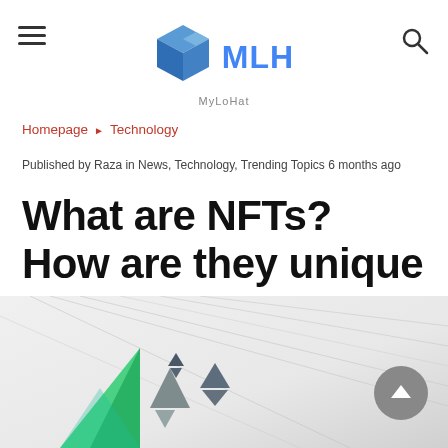MLH MyLoHat
Homepage ▶ Technology
Published by Raza in News, Technology, Trending Topics 6 months ago
What are NFTs? How are they unique about digital currency?
[Figure (illustration): Bottom decorative image with diagonal geometric lines, colored triangular shapes (green, grey, blue-grey, dark grey), and a grey scroll-to-top button with an upward arrow on the right side.]